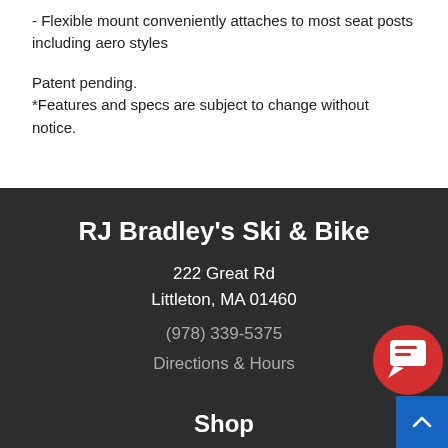- Flexible mount conveniently attaches to most seat posts including aero styles
Patent pending.
*Features and specs are subject to change without notice.
RJ Bradley's Ski & Bike
222 Great Rd
Littleton, MA 01460
(978) 339-5375
Directions & Hours
Shop